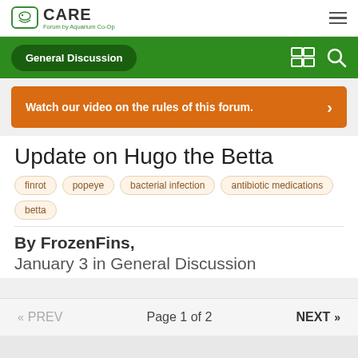CARE Forum by Aquarium Co-Op
General Discussion
Watch our video on the rules of this forum.
Update on Hugo the Betta
finrot
popeye
bacterial infection
antibiotic medications
betta
By FrozenFins,
January 3 in General Discussion
« PREV   Page 1 of 2   NEXT »